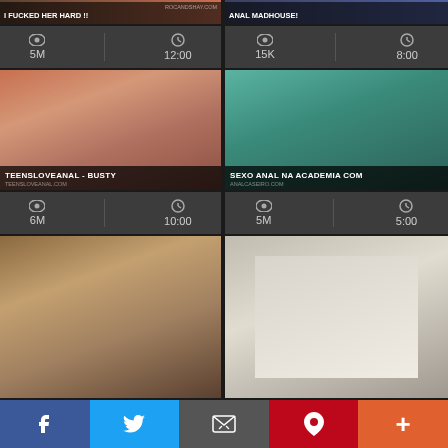[Figure (screenshot): Video thumbnail grid layout with 6 video thumbnails, stats rows, and social sharing bar at bottom]
I FUCKED HER HARD !! | 5M views | 12:00
ANAL MADHOUSE! | 15K views | 8:00
TEENSLOVEANAL - BUSTY | 6M views | 10:00
SEXO ANAL NA ACADEMIA COM | 5M views | 5:00
Thumbnail 5 (bottom left)
Thumbnail 6 (bottom right)